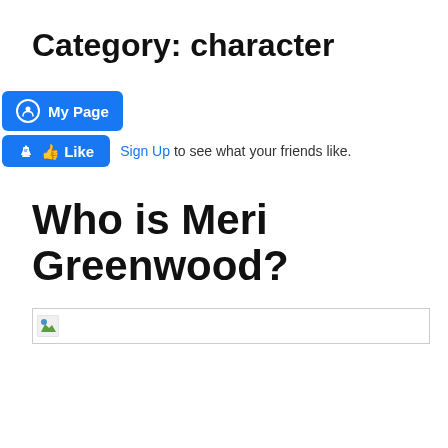Category: character
[Figure (screenshot): Facebook 'My Page' button (blue, rounded rectangle) with circular icon]
Sign Up to see what your friends like.
Who is Meri Greenwood?
[Figure (photo): Broken/missing image placeholder with small green image icon on left, wide horizontal border box]